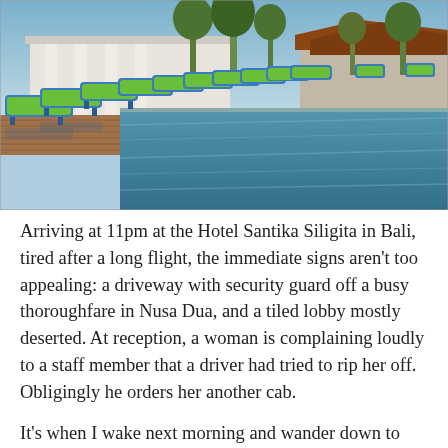[Figure (photo): Hotel pool area with blue and green lounge chairs lined up along a long swimming pool. White villa buildings and tropical trees visible in the background under blue sky. Wooden pool deck visible.]
Arriving at 11pm at the Hotel Santika Siligita in Bali, tired after a long flight, the immediate signs aren't too appealing: a driveway with security guard off a busy thoroughfare in Nusa Dua, and a tiled lobby mostly deserted. At reception, a woman is complaining loudly to a staff member that a driver had tried to rip her off. Obligingly he orders her another cab.
It's when I wake next morning and wander down to breakfast